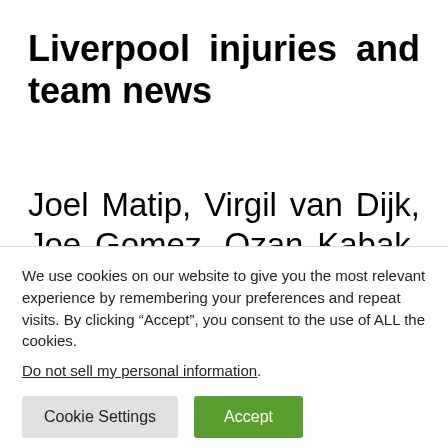Liverpool injuries and team news
Joel Matip, Virgil van Dijk, Joe Gomez, Ozan Kabak, Jordan Henderson, and Naby Keita are all ruled out for Liverpool, even
We use cookies on our website to give you the most relevant experience by remembering your preferences and repeat visits. By clicking “Accept”, you consent to the use of ALL the cookies.
Do not sell my personal information.